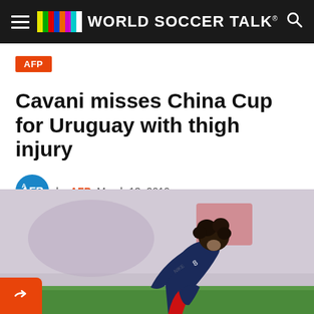WORLD SOCCER TALK®
AFP
Cavani misses China Cup for Uruguay with thigh injury
by AFP  March 13, 2019
[Figure (photo): A soccer player in dark navy PSG jersey, hunched over with head bowed, appearing dejected or in pain, on a grass pitch.]